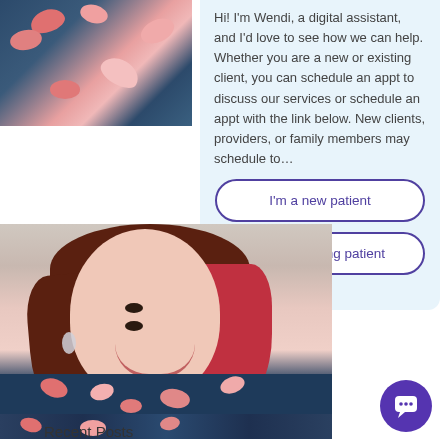[Figure (photo): Partial cropped photo of a woman in a floral patterned dress (top portion only)]
Hi! I'm Wendi, a digital assistant, and I'd love to see how we can help. Whether you are a new or existing client, you can schedule an appt to discuss our services or schedule an appt with the link below. New clients, providers, or family members may schedule to…
[Figure (photo): Portrait photo of a smiling woman with auburn/red highlighted hair, wearing a blue floral dress, silver earrings]
I'm a new patient
I'm an existing patient
Recent Posts